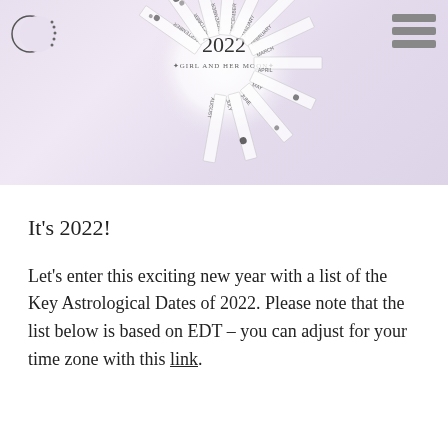[Figure (illustration): Hero image showing a 2022 Girl and Her Moon lunar calendar wheel with moon phases arranged in a radial/fan pattern. Months labeled around the outer edge. A crescent moon logo is in the top-left corner and a hamburger menu icon is in the top-right corner.]
It's 2022!
Let's enter this exciting new year with a list of the Key Astrological Dates of 2022. Please note that the list below is based on EDT – you can adjust for your time zone with this link.